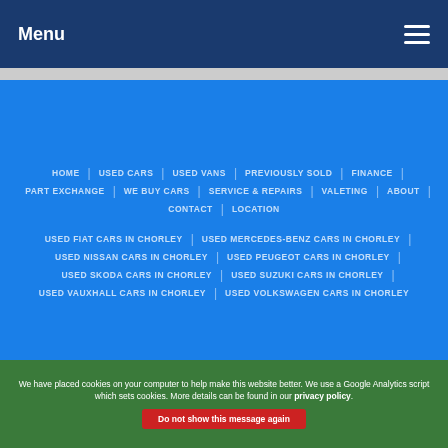Menu
HOME | USED CARS | USED VANS | PREVIOUSLY SOLD | FINANCE
PART EXCHANGE | WE BUY CARS | SERVICE & REPAIRS | VALETING | ABOUT
CONTACT | LOCATION
USED FIAT CARS IN CHORLEY | USED MERCEDES-BENZ CARS IN CHORLEY
USED NISSAN CARS IN CHORLEY | USED PEUGEOT CARS IN CHORLEY
USED SKODA CARS IN CHORLEY | USED SUZUKI CARS IN CHORLEY
USED VAUXHALL CARS IN CHORLEY | USED VOLKSWAGEN CARS IN CHORLEY
We have placed cookies on your computer to help make this website better. We use a Google Analytics script which sets cookies. More details can be found in our privacy policy.
Do not show this message again
Visit MDC Autos
T: 01257 266 882 - M: 07712 391 951